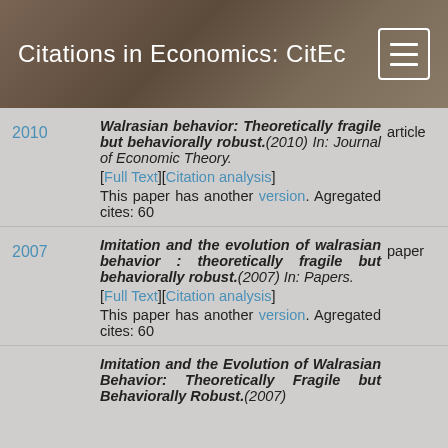Citations in Economics: CitEc
2010 — Walrasian behavior: Theoretically fragile but behaviorally robust.(2010) In: Journal of Economic Theory. [Full Text][Citation analysis] This paper has another version. Agregated cites: 60 — article
2007 — Imitation and the evolution of walrasian behavior : theoretically fragile but behaviorally robust.(2007) In: Papers. [Full Text][Citation analysis] This paper has another version. Agregated cites: 60 — paper
Imitation and the Evolution of Walrasian Behavior: Theoretically Fragile but Behaviorally Robust.(2007)